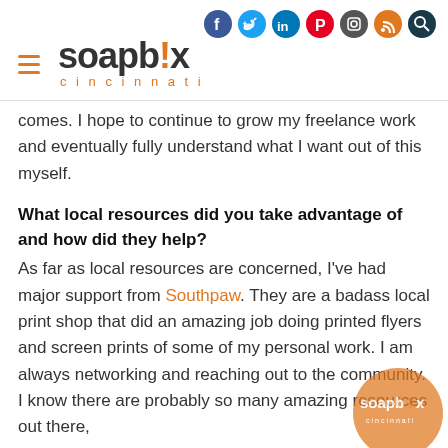soapbox cincinnati — website header with social icons
comes. I hope to continue to grow my freelance work and eventually fully understand what I want out of this myself.
What local resources did you take advantage of and how did they help?
As far as local resources are concerned, I've had major support from Southpaw. They are a badass local print shop that did an amazing job doing printed flyers and screen prints of some of my personal work. I am always networking and reaching out to the community. I know there are probably so many amazing resources out there,